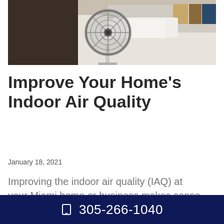[Figure (photo): A metallic electric fan on a stand in a bedroom with white pillows and colorful cushions in the background]
Improve Your Home’s Indoor Air Quality
January 18, 2021
Improving the indoor air quality (IAQ) at your Miami home or business makes sense...
☐ 305-266-1040